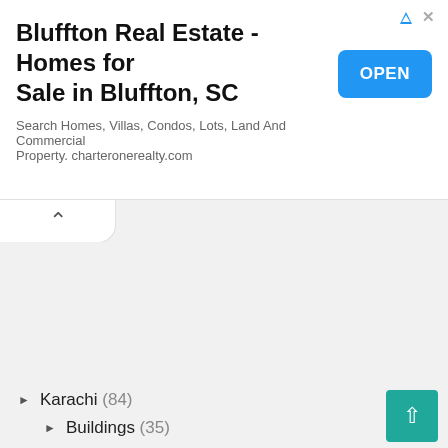[Figure (screenshot): Advertisement banner for Bluffton Real Estate - Homes for Sale in Bluffton, SC with an OPEN button]
[Figure (screenshot): Collapse/chevron tab UI element]
Karachi (84)
Buildings (35)
[Figure (screenshot): Back to top button (teal square with up arrow)]